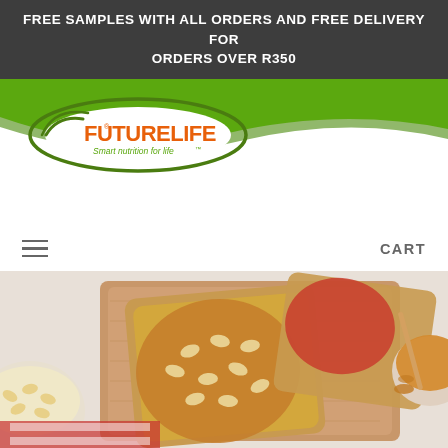FREE SAMPLES WITH ALL ORDERS AND FREE DELIVERY FOR ORDERS OVER R350
[Figure (logo): FUTURELIFE logo with tagline 'Smart nutrition for life']
[Figure (photo): Toast bread with peanut butter topped with corn kernels on a wooden cutting board, a bowl of peanuts on the left, a bowl of peanut butter with a honey dipper on the right, and toast with strawberry jam in the background]
Smart Bread with Peanut Butter and Strawberry Jam
Smart Bread with Peanut Butter and Strawberry Jam